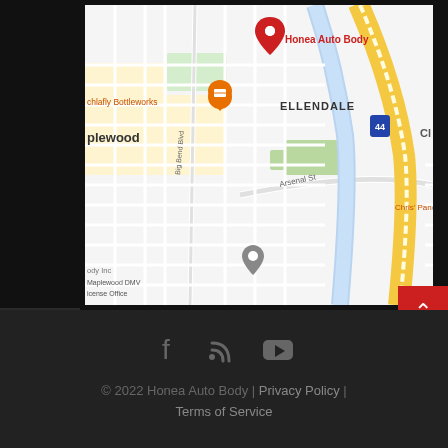[Figure (map): Google Maps screenshot showing Honea Auto Body location in the Ellendale area of Maplewood/St. Louis, with streets including Big Bend Blvd and Arsenal St, I-44 highway, and nearby landmarks including Schlafly Bottleworks and Maplewood DMV License Office]
© 2022 Honea Auto Body | Privacy Policy | Terms of Service